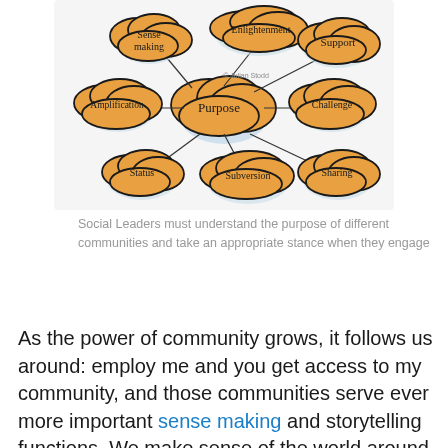[Figure (illustration): Hand-drawn illustration showing cloud-shaped bubbles connected by lines to a central 'Purpose' bubble. The surrounding bubbles are labeled: Sense making, Enlightenment, Support, Amplification, Challenge, Status, Subversion, Sharing. Copyright Julian Stodd.]
Social Leaders must understand the purpose of different communities and take an appropriate stance when they engage
As the power of community grows, it follows us around: employ me and you get access to my community, and those communities serve ever more important sense making and storytelling functions. We make sense of the world around us through our communities in different